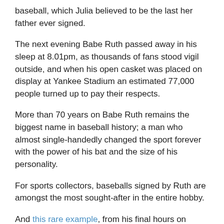baseball, which Julia believed to be the last her father ever signed.
The next evening Babe Ruth passed away in his sleep at 8.01pm, as thousands of fans stood vigil outside, and when his open casket was placed on display at Yankee Stadium an estimated 77,000 people turned up to pay their respects.
More than 70 years on Babe Ruth remains the biggest name in baseball history; a man who almost single-handedly changed the sport forever with the power of his bat and the size of his personality.
For sports collectors, baseballs signed by Ruth are amongst the most sought-after in the entire hobby.
And this rare example, from his final hours on Earth, is sure to attract some serious bids when it hits the block on January 22.
Posted in: Auction News, Autographs, Sports memorabilia
Tagged: autograph, Babe Ruth, Baseball, Grey Flannel Auctions